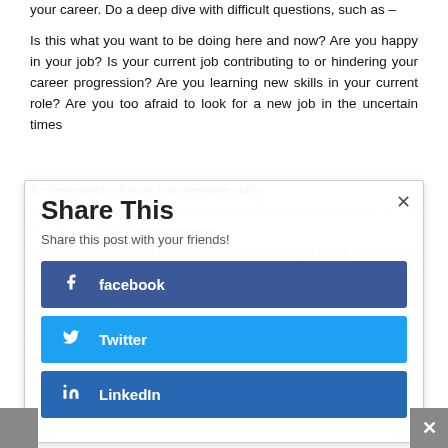your career. Do a deep dive with difficult questions, such as –
Is this what you want to be doing here and now? Are you happy in your job? Is your current job contributing to or hindering your career progression? Are you learning new skills in your current role? Are you too afraid to look for a new job in the uncertain times
2. Take stock of your transferable skills. You have skills you have developed form your previous in...positions...will be most relevant and transferable and think about how you might build on...work with an experienced recrui... you might present your transferable skills to potential c... compelling way. ...tech advancements you may need to be proactive...
[Figure (screenshot): Share This modal overlay with Facebook, Twitter, and LinkedIn share buttons. Title: 'Share This'. Subtitle: 'Share this post with your friends!']